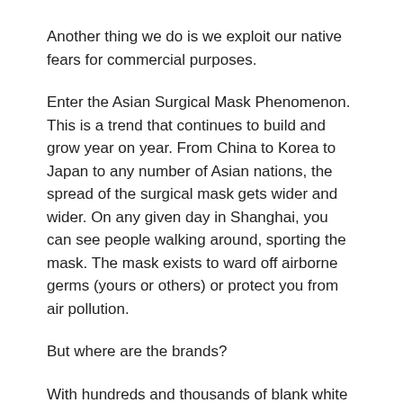Another thing we do is we exploit our native fears for commercial purposes.
Enter the Asian Surgical Mask Phenomenon. This is a trend that continues to build and grow year on year. From China to Korea to Japan to any number of Asian nations, the spread of the surgical mask gets wider and wider. On any given day in Shanghai, you can see people walking around, sporting the mask. The mask exists to ward off airborne germs (yours or others) or protect you from air pollution.
But where are the brands?
With hundreds and thousands of blank white spaces covering noses and mouths, why are we not seeing a market for Gucci, Louis Vuitton, and Chanel masks – or Nike, Coca-Cola, and McDonald's? The opportunity for brand communication is enormous and yet is left almost completely alone.